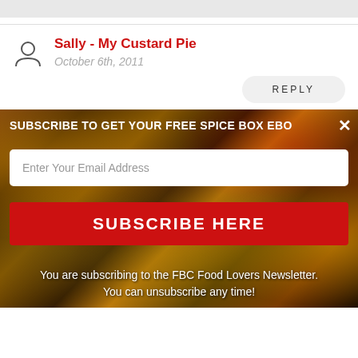[Figure (screenshot): Top gray bar area from a web page]
Sally - My Custard Pie
October 6th, 2011
REPLY
[Figure (photo): Popup overlay on spice photo background with subscribe form]
SUBSCRIBE TO GET YOUR FREE SPICE BOX EBO
Enter Your Email Address
SUBSCRIBE HERE
You are subscribing to the FBC Food Lovers Newsletter. You can unsubscribe any time!